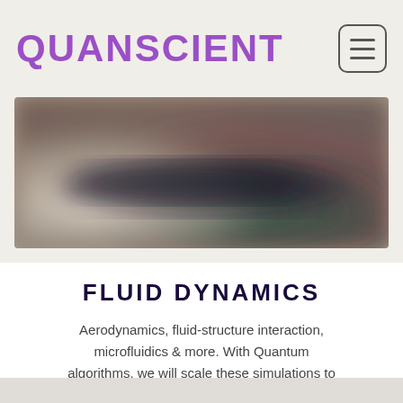QUANSCIENT
[Figure (illustration): Blurred fluid dynamics simulation visualization with warm orange-pink and cool green-teal color gradients, representing aerodynamic flow fields]
FLUID DYNAMICS
Aerodynamics, fluid-structure interaction, microfluidics & more. With Quantum algorithms, we will scale these simulations to unseen extent.